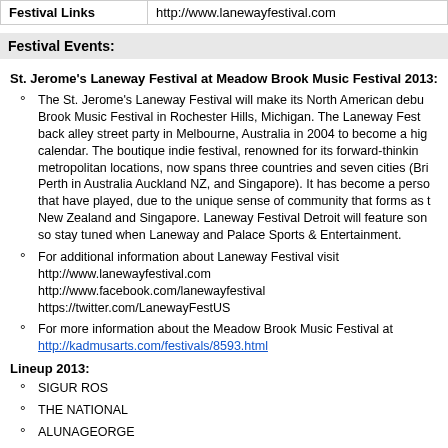| Festival Links |  |
| --- | --- |
| Festival Links | http://www.lanewayfestival.com |
Festival Events:
St. Jerome's Laneway Festival at Meadow Brook Music Festival 2013:
The St. Jerome's Laneway Festival will make its North American debut at Meadow Brook Music Festival in Rochester Hills, Michigan. The Laneway Festival started as a humble back alley street party in Melbourne, Australia in 2004 to become a highlight of the summer calendar. The boutique indie festival, renowned for its forward-thinking programming in metropolitan locations, now spans three countries and seven cities (Brisbane, Sydney, Adelaide, Perth in Australia Auckland NZ, and Singapore). It has become a personal favourite of all bands that have played, due to the unique sense of community that forms as the same acts tour Australia, New Zealand and Singapore. Laneway Festival Detroit will feature some amazing acts, so stay tuned when Laneway and Palace Sports & Entertainment.
For additional information about Laneway Festival visit http://www.lanewayfestival.com http://www.facebook.com/lanewayfestival https://twitter.com/LanewayFestUS
For more information about the Meadow Brook Music Festival at http://kadmusarts.com/festivals/8593.html
Lineup 2013:
SIGUR ROS
THE NATIONAL
ALUNAGEORGE